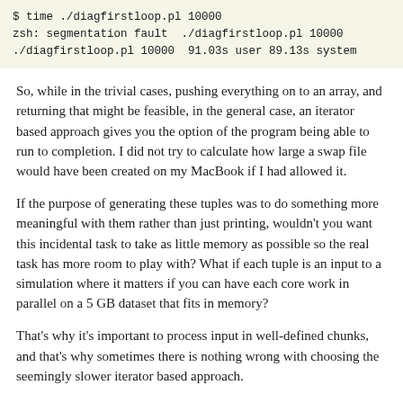[Figure (screenshot): Terminal code block showing: $ time ./diagfirstloop.pl 10000 / zsh: segmentation fault  ./diagfirstloop.pl 10000 / ./diagfirstloop.pl 10000  91.03s user 89.13s system]
So, while in the trivial cases, pushing everything on to an array, and returning that might be feasible, in the general case, an iterator based approach gives you the option of the program being able to run to completion. I did not try to calculate how large a swap file would have been created on my MacBook if I had allowed it.
If the purpose of generating these tuples was to do something more meaningful with them rather than just printing, wouldn't you want this incidental task to take as little memory as possible so the real task has more room to play with? What if each tuple is an input to a simulation where it matters if you can have each core work in parallel on a 5 GB dataset that fits in memory?
That's why it's important to process input in well-defined chunks, and that's why sometimes there is nothing wrong with choosing the seemingly slower iterator based approach.